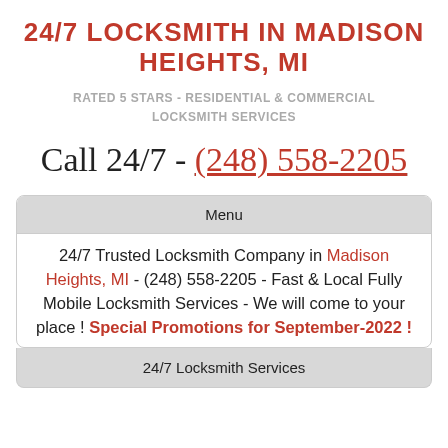24/7 LOCKSMITH IN MADISON HEIGHTS, MI
RATED 5 STARS - RESIDENTIAL & COMMERCIAL LOCKSMITH SERVICES
Call 24/7 - (248) 558-2205
Menu
24/7 Trusted Locksmith Company in Madison Heights, MI - (248) 558-2205 - Fast & Local Fully Mobile Locksmith Services - We will come to your place ! Special Promotions for September-2022 !
24/7 Locksmith Services